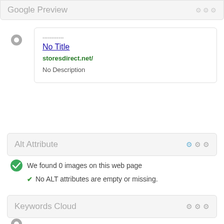Google Preview
No Title
storesdirect.net/
No Description
Alt Attribute
We found 0 images on this web page
No ALT attributes are empty or missing.
Keywords Cloud